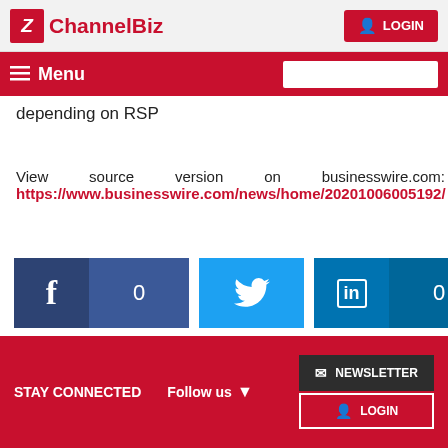ChannelBiz | LOGIN
Menu
depending on RSP
View source version on businesswire.com: https://www.businesswire.com/news/home/20201006005192/
[Figure (other): Social share buttons: Facebook with count 0, Twitter, LinkedIn with count 0]
STAY CONNECTED  Follow us  NEWSLETTER  LOGIN